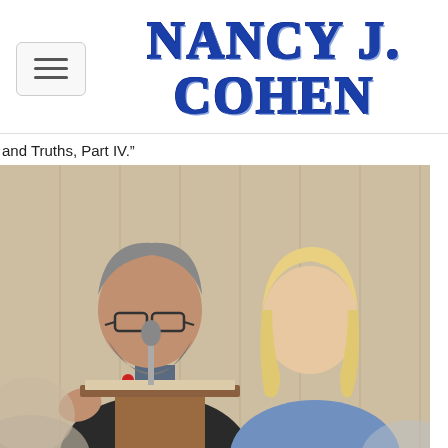Nancy J. Cohen
and Truths, Part IV.”
[Figure (photo): Two people at a podium with a microphone. A man with glasses and gray hair gesturing while speaking, and a blonde woman in a blue top listening beside him.]
[Figure (photo): Partial view of a second photo at bottom of page, showing a podium or presentation setting.]